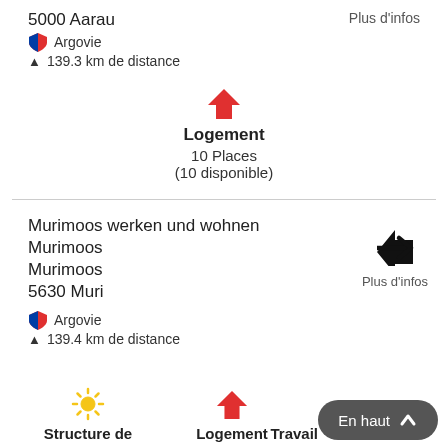5000 Aarau
Plus d'infos
Argovie
139.3 km de distance
[Figure (illustration): Red house icon above Logement section]
Logement
10 Places
(10 disponible)
Murimoos werken und wohnen
Murimoos
Murimoos
5630 Muri
Argovie
139.4 km de distance
Plus d'infos
Structure de
Logement
Travail
En haut